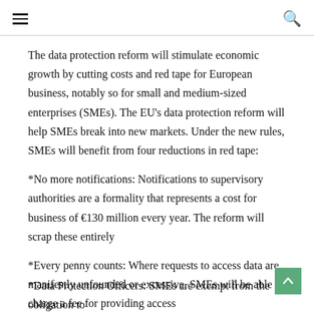The data protection reform will stimulate economic growth by cutting costs and red tape for European business, notably so for small and medium-sized enterprises (SMEs). The EU's data protection reform will help SMEs break into new markets. Under the new rules, SMEs will benefit from four reductions in red tape:
*No more notifications: Notifications to supervisory authorities are a formality that represents a cost for business of €130 million every year. The reform will scrap these entirely
*Every penny counts: Where requests to access data are manifestly unfounded or excessive, SMEs will be able to charge a fee for providing access
*Data Protection Officers: SMEs are exempt from the obligation to